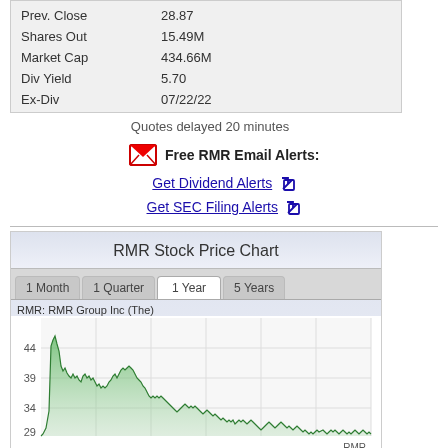| Prev. Close | 28.87 |
| Shares Out | 15.49M |
| Market Cap | 434.66M |
| Div Yield | 5.70 |
| Ex-Div | 07/22/22 |
Quotes delayed 20 minutes
Free RMR Email Alerts:
Get Dividend Alerts
Get SEC Filing Alerts
RMR Stock Price Chart
1 Month  1 Quarter  1 Year  5 Years
RMR: RMR Group Inc (The)
[Figure (continuous-plot): RMR Group Inc stock price line/area chart over 1 year, showing price range roughly 29-44, with a peak early then declining trend. Y-axis labels: 44, 39, 34, 29. Green shaded area chart.]